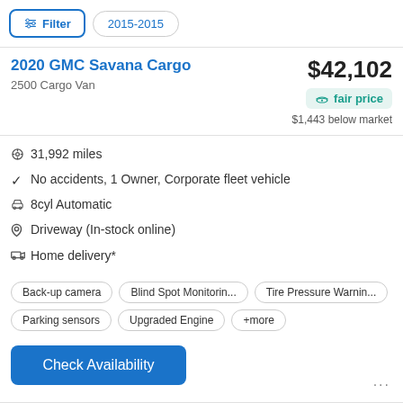Filter  2015-2015
2020 GMC Savana Cargo
2500 Cargo Van
$42,102
fair price
$1,443 below market
31,992 miles
No accidents, 1 Owner, Corporate fleet vehicle
8cyl Automatic
Driveway (In-stock online)
Home delivery*
Back-up camera  Blind Spot Monitorin...  Tire Pressure Warnin...  Parking sensors  Upgraded Engine  +more
Check Availability